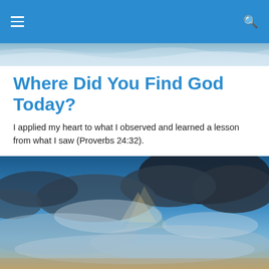Navigation bar with hamburger menu and search icon
[Figure (photo): Light blue sky/cloud decorative header strip]
Where Did You Find God Today?
I applied my heart to what I observed and learned a lesson from what I saw (Proverbs 24:32).
[Figure (photo): Dramatic sky with dark and light clouds, sunlight breaking through]
TAGGED WITH INSTERST
R and I